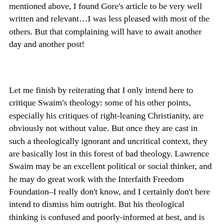mentioned above, I found Gore's article to be very well written and relevant…I was less pleased with most of the others. But that complaining will have to await another day and another post!
Let me finish by reiterating that I only intend here to critique Swaim's theology: some of his other points, especially his critiques of right-leaning Christianity, are obviously not without value. But once they are cast in such a theologically ignorant and uncritical context, they are basically lost in this forest of bad theology. Lawrence Swaim may be an excellent political or social thinker, and he may do great work with the Interfaith Freedom Foundation–I really don't know, and I certainly don't here intend to dismiss him outright. But his theological thinking is confused and poorly-informed at best, and is just the sort of thinking that I think is driving so many people away